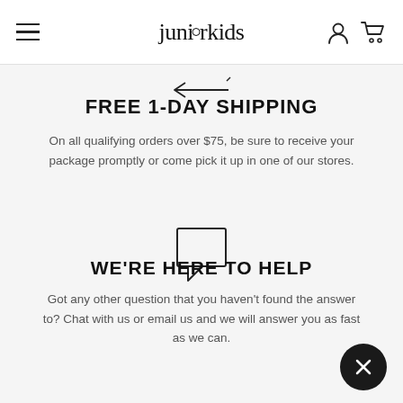juniorkids
[Figure (illustration): Back arrow icon pointing left]
FREE 1-DAY SHIPPING
On all qualifying orders over $75, be sure to receive your package promptly or come pick it up in one of our stores.
[Figure (illustration): Chat bubble / speech bubble icon]
WE'RE HERE TO HELP
Got any other question that you haven't found the answer to? Chat with us or email us and we will answer you as fast as we can.
[Figure (illustration): Dark circular close/X button in bottom right corner]